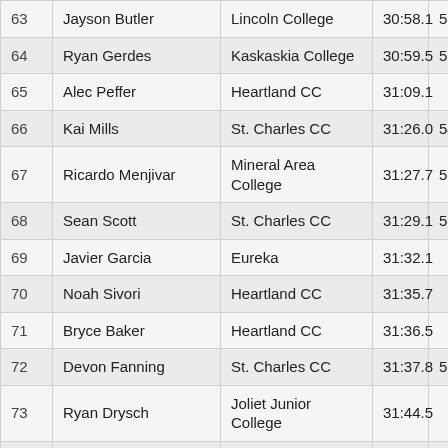| Place | Name | School | Time | Score |
| --- | --- | --- | --- | --- |
| 63 | Jayson Butler | Lincoln College | 30:58.1 | 52 |
| 64 | Ryan Gerdes | Kaskaskia College | 30:59.5 | 53 |
| 65 | Alec Peffer | Heartland CC | 31:09.1 |  |
| 66 | Kai Mills | St. Charles CC | 31:26.0 | 54 |
| 67 | Ricardo Menjivar | Mineral Area College | 31:27.7 | 55 |
| 68 | Sean Scott | St. Charles CC | 31:29.1 | 56 |
| 69 | Javier Garcia | Eureka | 31:32.1 |  |
| 70 | Noah Sivori | Heartland CC | 31:35.7 |  |
| 71 | Bryce Baker | Heartland CC | 31:36.5 |  |
| 72 | Devon Fanning | St. Charles CC | 31:37.8 | 57 |
| 73 | Ryan Drysch | Joliet Junior College | 31:44.5 |  |
| 74 | Lane Martin | Westminster (Mo.) | 31:44.6 |  |
| 75 | Jacob Fedderke | Illinois College | 31:55.8 | 58 |
| 76 | Collin Lippe | Joliet Junior College | 32:06.3 |  |